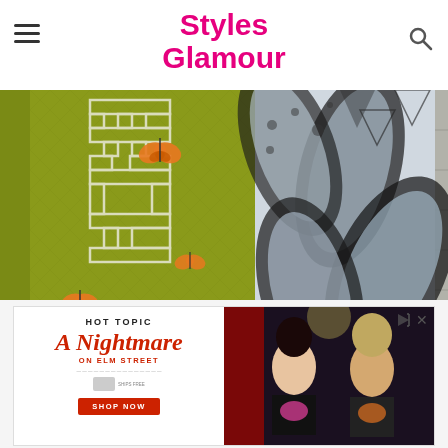Styles Glamour
[Figure (photo): Two fashion garments side by side: left is a chartreuse/olive green garment with orange butterfly appliques and geometric white embroidery patterns; right is a black and white tropical leaf print garment with blue and grey tones, hanging against a grey tile wall]
[Figure (infographic): Hot Topic advertisement for 'A Nightmare on Elm Street' merchandise featuring stylized red script title, two models wearing band tees in a dark setting, with HOT TOPIC branding and SHOP NOW button]